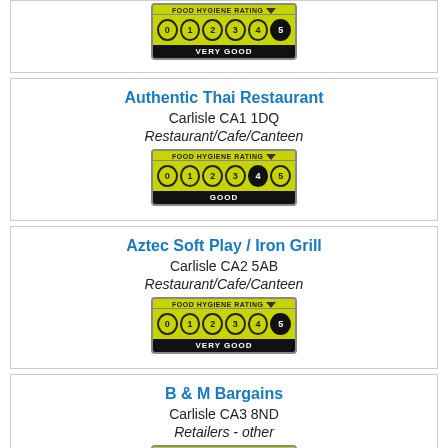[Figure (infographic): Food Hygiene Rating badge showing rating 5 VERY GOOD (partial, top cropped)]
Authentic Thai Restaurant
Carlisle CA1 1DQ
Restaurant/Cafe/Canteen
[Figure (infographic): Food Hygiene Rating badge showing rating 4 GOOD]
Aztec Soft Play / Iron Grill
Carlisle CA2 5AB
Restaurant/Cafe/Canteen
[Figure (infographic): Food Hygiene Rating badge showing rating 5 VERY GOOD]
B & M Bargains
Carlisle CA3 8ND
Retailers - other
[Figure (infographic): Food Hygiene Rating badge (partial, bottom cropped)]